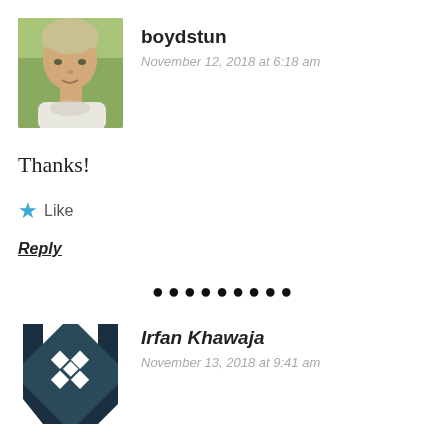[Figure (photo): Profile photo of boydstun, a man with light hair outdoors]
boydstun
November 12, 2018 at 6:18 am
Thanks!
★ Like
Reply
••••••••
[Figure (illustration): Geometric quilt-style avatar icon for Irfan Khawaja, dark teal and white pattern]
Irfan Khawaja
November 13, 2018 at 9:41 am